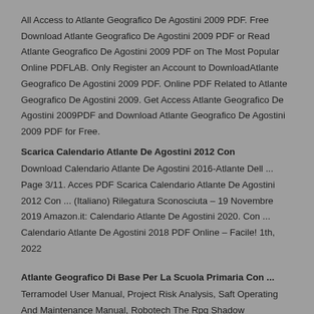All Access to Atlante Geografico De Agostini 2009 PDF. Free Download Atlante Geografico De Agostini 2009 PDF or Read Atlante Geografico De Agostini 2009 PDF on The Most Popular Online PDFLAB. Only Register an Account to DownloadAtlante Geografico De Agostini 2009 PDF. Online PDF Related to Atlante Geografico De Agostini 2009. Get Access Atlante Geografico De Agostini 2009PDF and Download Atlante Geografico De Agostini 2009 PDF for Free.
Scarica Calendario Atlante De Agostini 2012 Con
Download Calendario Atlante De Agostini 2016-Atlante Dell ... Page 3/11. Acces PDF Scarica Calendario Atlante De Agostini 2012 Con ... (Italiano) Rilegatura Sconosciuta – 19 Novembre 2019 Amazon.it: Calendario Atlante De Agostini 2020. Con ... Calendario Atlante De Agostini 2018 PDF Online – Facile! 1th, 2022
Atlante Geografico Di Base Per La Scuola Primaria Con ...
Terramodel User Manual, Project Risk Analysis, Saft Operating And Maintenance Manual, Robotech The Rpg Shadow